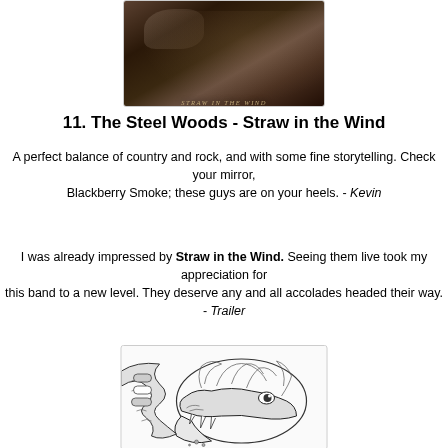[Figure (photo): Album cover for 'Straw in the Wind' by The Steel Woods — dark moody image with text overlay reading 'Straw in the Wind']
11. The Steel Woods - Straw in the Wind
A perfect balance of country and rock, and with some fine storytelling. Check your mirror, Blackberry Smoke; these guys are on your heels. - Kevin
I was already impressed by Straw in the Wind. Seeing them live took my appreciation for this band to a new level. They deserve any and all accolades headed their way. - Trailer
[Figure (illustration): Black and white detailed pen illustration of a fierce animal (wolf/beast) head with a snake or eel wrapped around it, showing teeth and detailed linework]